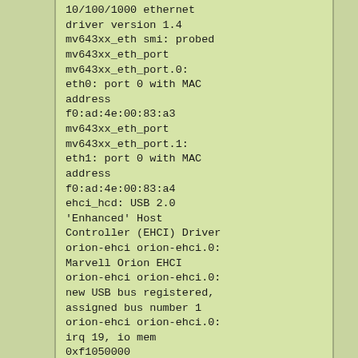10/100/1000 ethernet driver version 1.4 mv643xx_eth smi: probed mv643xx_eth_port mv643xx_eth_port.0: eth0: port 0 with MAC address f0:ad:4e:00:83:a3 mv643xx_eth_port mv643xx_eth_port.1: eth1: port 0 with MAC address f0:ad:4e:00:83:a4 ehci_hcd: USB 2.0 'Enhanced' Host Controller (EHCI) Driver orion-ehci orion-ehci.0: Marvell Orion EHCI orion-ehci orion-ehci.0: new USB bus registered, assigned bus number 1 orion-ehci orion-ehci.0: irq 19, io mem 0xf1050000 orion-ehci orion-ehci.0: USB 2.0 started, EHCI 1.00